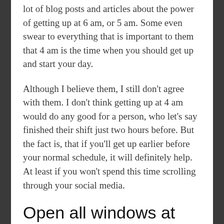lot of blog posts and articles about the power of getting up at 6 am, or 5 am. Some even swear to everything that is important to them that 4 am is the time when you should get up and start your day.
Although I believe them, I still don't agree with them. I don't think getting up at 4 am would do any good for a person, who let's say finished their shift just two hours before. But the fact is, that if you'll get up earlier before your normal schedule, it will definitely help. At least if you won't spend this time scrolling through your social media.
Open all windows at your home as soon as you wake up
This seems to be so random and not important thing,